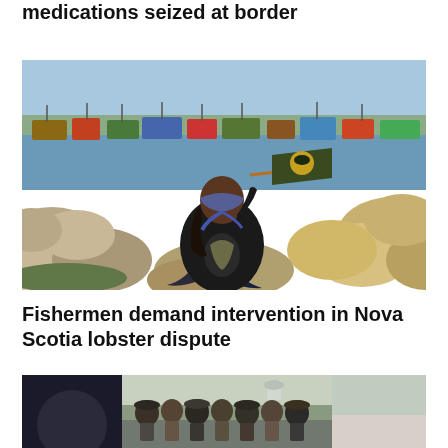medications seized at border
[Figure (photo): Person sitting on rocks near a harbour with fishing boats, wearing a black leather jacket and head scarf, holding a flag with a bird/sun symbol. Rocky breakwater with numerous fishing vessels in the background.]
Fishermen demand intervention in Nova Scotia lobster dispute
[Figure (photo): Group of people/fishermen gathered outdoors, partial view, with a water tower visible in background. Three panel image showing dark left panel, central group of people, and right panel.]